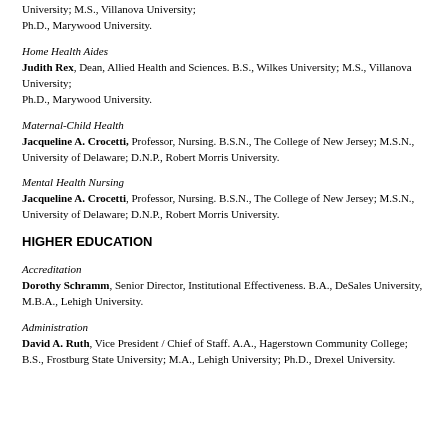University; M.S., Villanova University; Ph.D., Marywood University.
Home Health Aides
Judith Rex, Dean, Allied Health and Sciences. B.S., Wilkes University; M.S., Villanova University; Ph.D., Marywood University.
Maternal-Child Health
Jacqueline A. Crocetti, Professor, Nursing. B.S.N., The College of New Jersey; M.S.N., University of Delaware; D.N.P., Robert Morris University.
Mental Health Nursing
Jacqueline A. Crocetti, Professor, Nursing. B.S.N., The College of New Jersey; M.S.N., University of Delaware; D.N.P., Robert Morris University.
HIGHER EDUCATION
Accreditation
Dorothy Schramm, Senior Director, Institutional Effectiveness. B.A., DeSales University,  M.B.A., Lehigh University.
Administration
David A. Ruth, Vice President / Chief of Staff. A.A., Hagerstown Community College; B.S., Frostburg State University; M.A., Lehigh University; Ph.D., Drexel University.